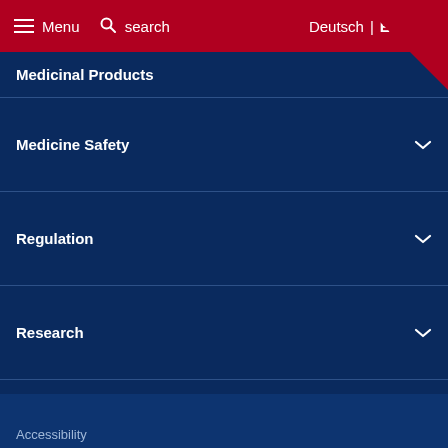Menu  search  Deutsch | English
Medicinal Products
Medicine Safety
Regulation
Research
Newsroom
Service
Accessibility